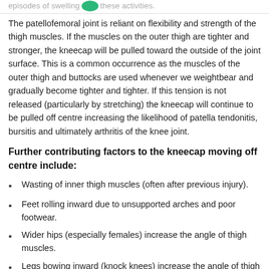episodes of swelling these activities.
The patellofemoral joint is reliant on flexibility and strength of the thigh muscles. If the muscles on the outer thigh are tighter and stronger, the kneecap will be pulled toward the outside of the joint surface. This is a common occurrence as the muscles of the outer thigh and buttocks are used whenever we weightbear and gradually become tighter and tighter. If this tension is not released (particularly by stretching) the kneecap will continue to be pulled off centre increasing the likelihood of patella tendonitis, bursitis and ultimately arthritis of the knee joint.
Further contributing factors to the kneecap moving off centre include:
Wasting of inner thigh muscles (often after previous injury).
Feet rolling inward due to unsupported arches and poor footwear.
Wider hips (especially females) increase the angle of thigh muscles.
Legs bowing inward (knock knees) increase the angle of thigh